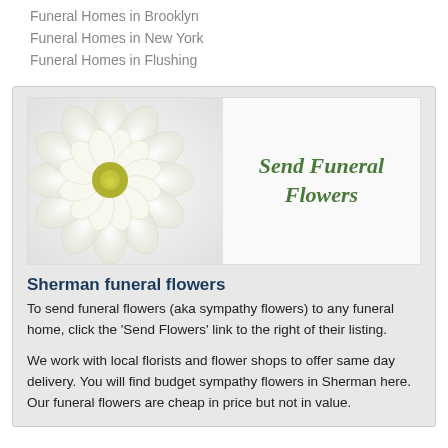Funeral Homes in Brooklyn
Funeral Homes in New York
Funeral Homes in Flushing
[Figure (illustration): Banner image showing a white dahlia flower on the left with italic green text 'Send Funeral Flowers' on the right against a light background.]
Sherman funeral flowers
To send funeral flowers (aka sympathy flowers) to any funeral home, click the 'Send Flowers' link to the right of their listing.

We work with local florists and flower shops to offer same day delivery. You will find budget sympathy flowers in Sherman here. Our funeral flowers are cheap in price but not in value.